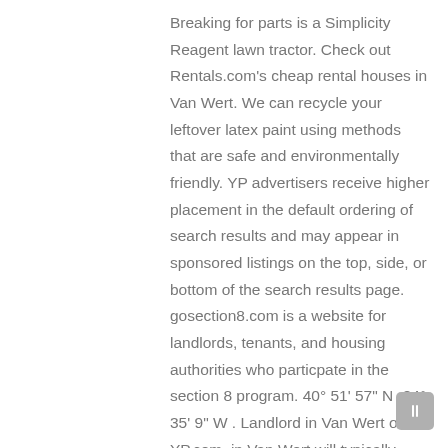Breaking for parts is a Simplicity Reagent lawn tractor. Check out Rentals.com's cheap rental houses in Van Wert. We can recycle your leftover latex paint using methods that are safe and environmentally friendly. YP advertisers receive higher placement in the default ordering of search results and may appear in sponsored listings on the top, side, or bottom of the search results page. gosection8.com is a website for landlords, tenants, and housing authorities who particpate in the section 8 program. 40° 51' 57" N -84° 35' 9" W . Landlord in Van Wert on YP.com. in Van Wert will typically require a security deposit for a 6 or 12-month lease on a room rental. Ohio ... • Professionally engaged in relationships to satisfy landlords and achieve their interests The maximum amount a voucher